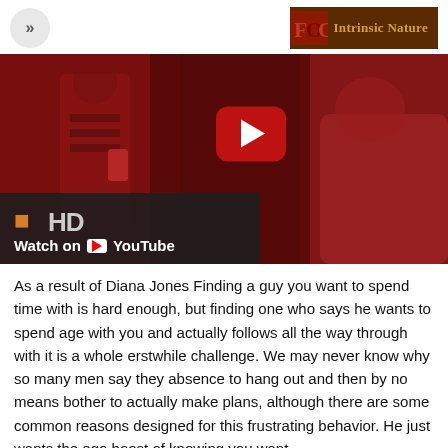>> | FOCUS Intrinsic Nature
[Figure (screenshot): YouTube video thumbnail showing people in a red-lit room, with a YouTube play button overlay and 'Watch on YouTube' bar at bottom left, with an HD badge.]
As a result of Diana Jones Finding a guy you want to spend time with is hard enough, but finding one who says he wants to spend age with you and actually follows all the way through with it is a whole erstwhile challenge. We may never know why so many men say they absence to hang out and then by no means bother to actually make plans, although there are some common reasons designed for this frustrating behavior. He just wants the ego boost of knowing you want